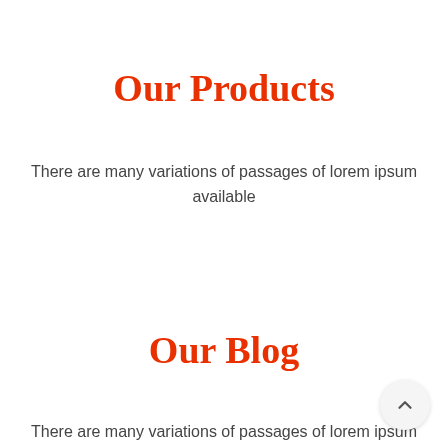Our Products
There are many variations of passages of lorem ipsum available
Our Blog
There are many variations of passages of lorem ipsum